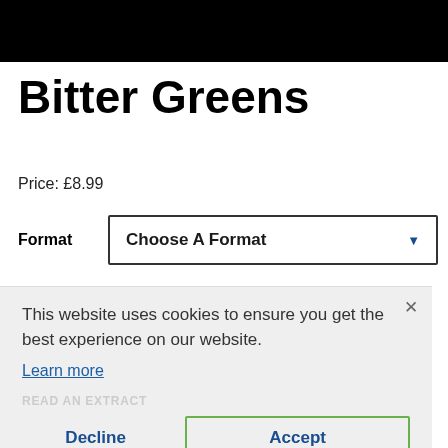[Figure (screenshot): Black banner image at top of page]
Bitter Greens
Price: £8.99
Format   Choose A Format
This website uses cookies to ensure you get the best experience on our website.
Learn more
Decline   Accept
Format   E-book, E-Book (USA), Paperback